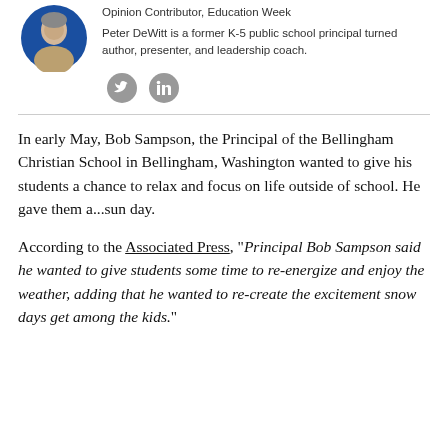[Figure (photo): Circular profile photo of a man against a blue background]
Opinion Contributor, Education Week
Peter DeWitt is a former K-5 public school principal turned author, presenter, and leadership coach.
[Figure (other): Social media icons: Twitter and LinkedIn]
In early May, Bob Sampson, the Principal of the Bellingham Christian School in Bellingham, Washington wanted to give his students a chance to relax and focus on life outside of school. He gave them a...sun day.
According to the Associated Press, “Principal Bob Sampson said he wanted to give students some time to re-energize and enjoy the weather, adding that he wanted to re-create the excitement snow days get among the kids.”